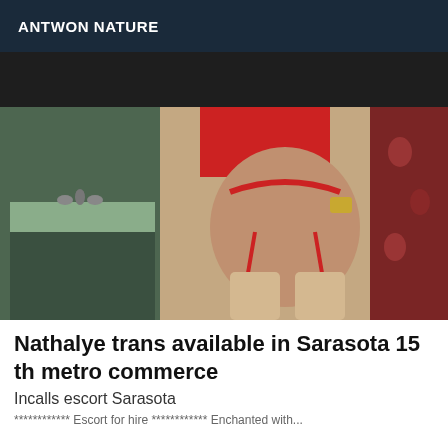ANTWON NATURE
[Figure (photo): A person wearing red lingerie and stockings photographed from behind in a bathroom setting]
Nathalye trans available in Sarasota 15 th metro commerce
Incalls escort Sarasota
************ Escort for hire ************ Enchanted with...